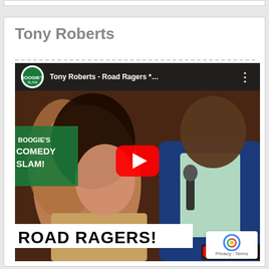Tony Roberts
[Figure (screenshot): YouTube video thumbnail for 'Tony Roberts - Road Ragers *...' from Boogie's Comedy Slam channel. Shows a laughing audience member and a comedian in a blue blazer holding a microphone. Text overlay reads 'ROAD RAGERS!' with YouTube play button visible.]